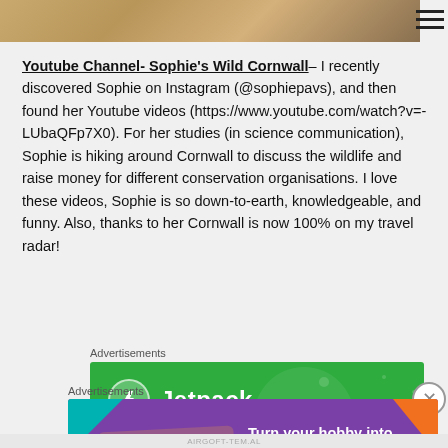[Figure (photo): Top banner image showing a decorative golden/tan patterned background, partially cropped]
Youtube Channel- Sophie's Wild Cornwall– I recently discovered Sophie on Instagram (@sophiepavs), and then found her Youtube videos (https://www.youtube.com/watch?v=-LUbaQFp7X0). For her studies (in science communication), Sophie is hiking around Cornwall to discuss the wildlife and raise money for different conservation organisations. I love these videos, Sophie is so down-to-earth, knowledgeable, and funny. Also, thanks to her Cornwall is now 100% on my travel radar!
Advertisements
[Figure (screenshot): Jetpack advertisement banner with green background showing the Jetpack logo and brand name in white]
Advertisements
[Figure (screenshot): WooCommerce advertisement banner with purple background showing WooCommerce logo and text 'Turn your hobby into a business in 8 steps']